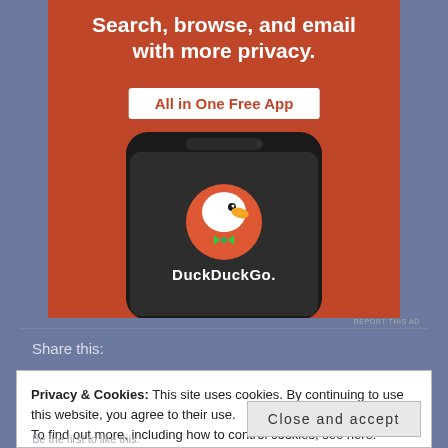[Figure (illustration): DuckDuckGo advertisement banner showing a smartphone with the DuckDuckGo app logo and text 'Search, browse, and email with more privacy. All in One Free App']
REPORT THIS AD
Share this:
Privacy & Cookies: This site uses cookies. By continuing to use this website, you agree to their use.
To find out more, including how to control cookies, see here: Cookie Policy
Close and accept
Be the first to like this.